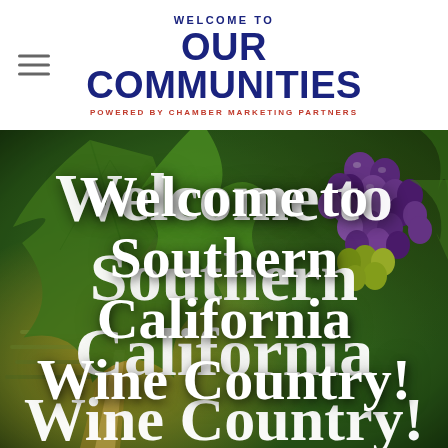WELCOME TO OUR COMMUNITIES POWERED BY CHAMBER MARKETING PARTNERS
[Figure (photo): Vineyard scene with grape clusters on the vine, green leaves, a sunlit path between vines, featuring overlaid text 'Welcome to Southern California Wine Country!']
Welcome to Southern California Wine Country!